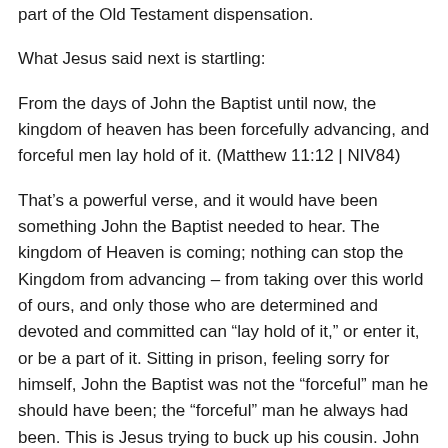part of the Old Testament dispensation.
What Jesus said next is startling:
From the days of John the Baptist until now, the kingdom of heaven has been forcefully advancing, and forceful men lay hold of it. (Matthew 11:12 | NIV84)
That’s a powerful verse, and it would have been something John the Baptist needed to hear. The kingdom of Heaven is coming; nothing can stop the Kingdom from advancing – from taking over this world of ours, and only those who are determined and devoted and committed can “lay hold of it,” or enter it, or be a part of it. Sitting in prison, feeling sorry for himself, John the Baptist was not the “forceful” man he should have been; the “forceful” man he always had been. This is Jesus trying to buck up his cousin. John the Baptist was better than this and he knew